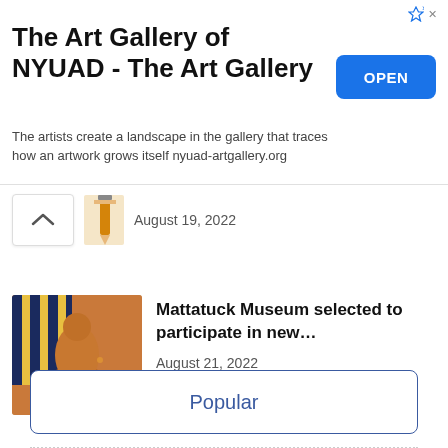[Figure (screenshot): Ad banner for The Art Gallery of NYUAD with OPEN button]
The Art Gallery of NYUAD - The Art Gallery
The artists create a landscape in the gallery that traces how an artwork grows itself nyuad-artgallery.org
August 19, 2022
[Figure (photo): Thumbnail image of a painting showing a figure in warm tones]
Mattatuck Museum selected to participate in new…
August 21, 2022
Popular